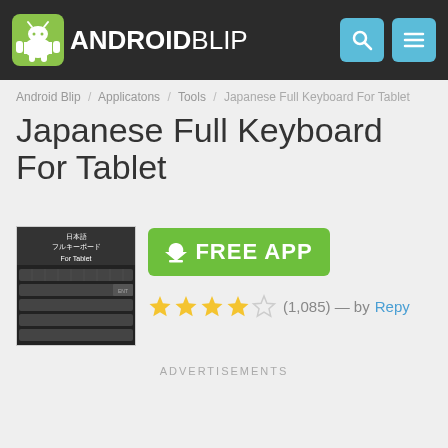ANDROIDBLIP
Android Blip / Applicatons / Tools / Japanese Full Keyboard For Tablet
Japanese Full Keyboard For Tablet
[Figure (screenshot): App icon showing Japanese keyboard interface with Japanese text]
FREE APP
(1,085) — by Repy
ADVERTISEMENTS